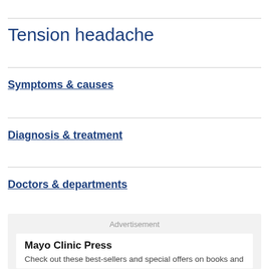Tension headache
Symptoms & causes
Diagnosis & treatment
Doctors & departments
Advertisement
Mayo Clinic Press
Check out these best-sellers and special offers on books and